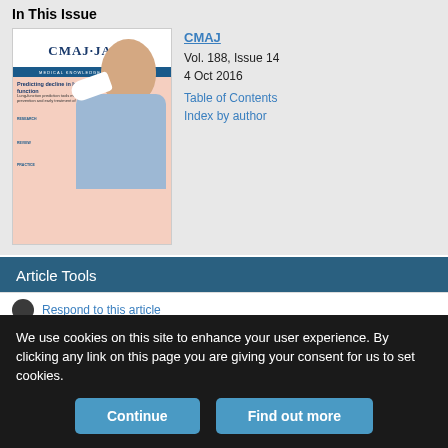In This Issue
[Figure (photo): CMAJ JAMC magazine cover, Vol. 188 Issue 14, featuring a man using an inhaler device, with headline 'Predicting decline in lung function']
CMAJ
Vol. 188, Issue 14
4 Oct 2016
Table of Contents
Index by author
Article Tools
Respond to this article
We use cookies on this site to enhance your user experience. By clicking any link on this page you are giving your consent for us to set cookies.
Continue
Find out more